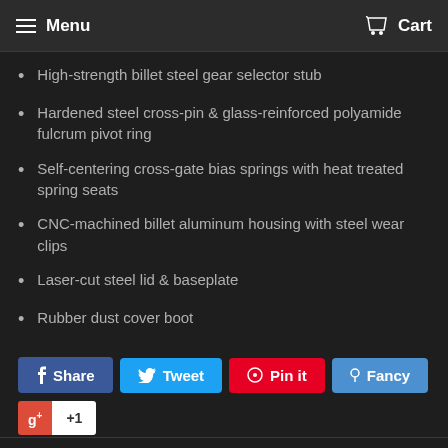Menu  Cart
High-strength billet steel gear selector stub
Hardened steel cross-pin & glass-reinforced polyamide fulcrum pivot ring
Self-centering cross-gate bias springs with heat treated spring seats
CNC-machined billet aluminum housing with steel wear clips
Laser-cut steel lid & baseplate
Rubber dust cover boot
[Figure (screenshot): Social sharing buttons: Share (Facebook, blue), Tweet (Twitter, light blue), Pin it (Pinterest, red), Fancy (blue), and Google +1 button]